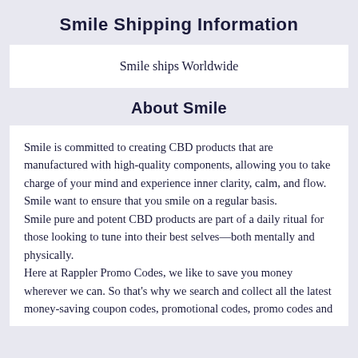Smile Shipping Information
Smile ships Worldwide
About Smile
Smile is committed to creating CBD products that are manufactured with high-quality components, allowing you to take charge of your mind and experience inner clarity, calm, and flow. Smile want to ensure that you smile on a regular basis.
Smile pure and potent CBD products are part of a daily ritual for those looking to tune into their best selves—both mentally and physically.
Here at Rappler Promo Codes, we like to save you money wherever we can. So that's why we search and collect all the latest money-saving coupon codes, promotional codes, promo codes and